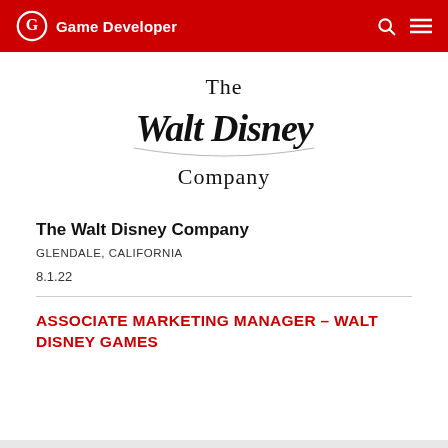Game Developer
[Figure (logo): The Walt Disney Company logo — stylized script text reading 'The Walt Disney Company' in black on white background]
The Walt Disney Company
GLENDALE, CALIFORNIA
8.1.22
ASSOCIATE MARKETING MANAGER – WALT DISNEY GAMES